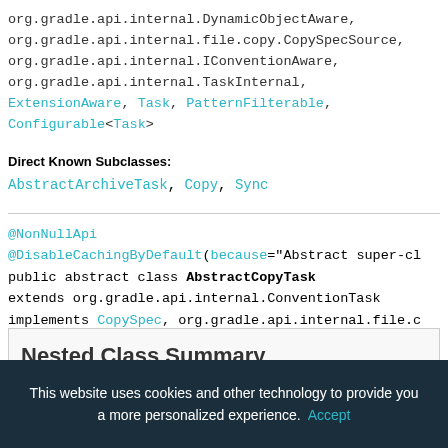org.gradle.api.internal.DynamicObjectAware,
org.gradle.api.internal.file.copy.CopySpecSource,
org.gradle.api.internal.IConventionAware,
org.gradle.api.internal.TaskInternal,
ExtensionAware, Task, PatternFilterable,
Configurable<Task>
Direct Known Subclasses:
AbstractArchiveTask, Copy, Sync
@NonNullApi
@DisableCachingByDefault(because="Abstract super-cl
public abstract class AbstractCopyTask
extends org.gradle.api.internal.ConventionTask
implements CopySpec, org.gradle.api.internal.file.c
AbstractCopyTask is the base class for all copy tasks.
Nested Class Summary
This website uses cookies and other technology to provide you a more personalized experience.  Accept